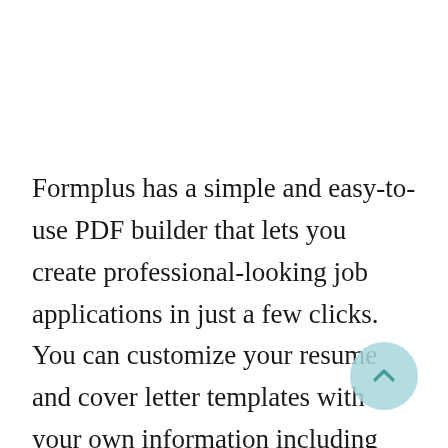Formplus has a simple and easy-to-use PDF builder that lets you create professional-looking job applications in just a few clicks. You can customize your resume and cover letter templates with your own information including your name, contact information, education history, and work experience, and save them to your account so they'll be re… go when you are.